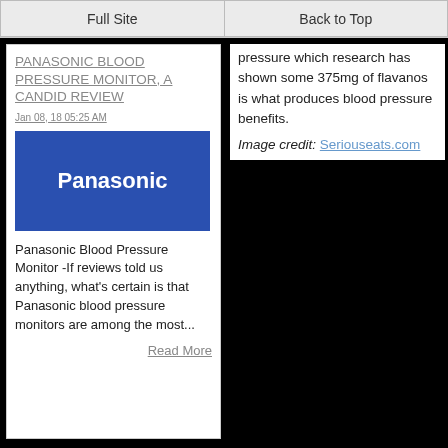Full Site | Back to Top
PANASONIC BLOOD PRESSURE MONITOR, A CANDID REVIEW
Jan 08, 18 05:25 AM
[Figure (logo): Panasonic logo — white text 'Panasonic' on blue background]
Panasonic Blood Pressure Monitor -If reviews told us anything, what's certain is that Panasonic blood pressure monitors are among the most...
Read More
pressure which research has shown some 375mg of flavanos is what produces blood pressure benefits.
Image credit: Seriouseats.com